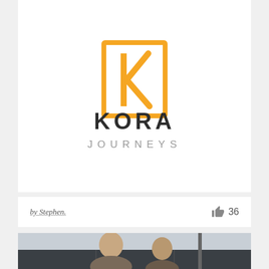[Figure (logo): Kora Journeys logo: orange rectangular border icon with stylized IK letters inside, with 'KORA' in large dark bold sans-serif and 'JOURNEYS' in smaller gray spaced letters below]
by Stephen.
36
[Figure (photo): Photo of two women/girls smiling, standing outdoors against a dark rooftop or structure background, overcast sky]